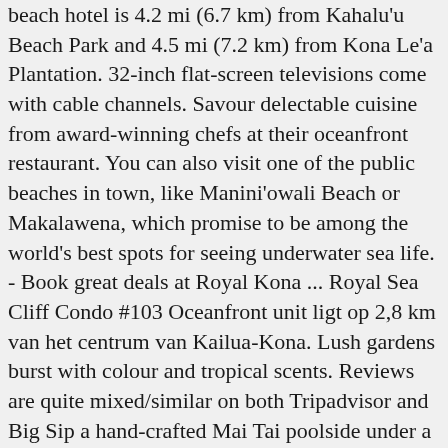beach hotel is 4.2 mi (6.7 km) from Kahalu'u Beach Park and 4.5 mi (7.2 km) from Kona Le'a Plantation. 32-inch flat-screen televisions come with cable channels. Savour delectable cuisine from award-winning chefs at their oceanfront restaurant. You can also visit one of the public beaches in town, like Manini'owali Beach or Makalawena, which promise to be among the world's best spots for seeing underwater sea life. - Book great deals at Royal Kona ... Royal Sea Cliff Condo #103 Oceanfront unit ligt op 2,8 km van het centrum van Kailua-Kona. Lush gardens burst with colour and tropical scents. Reviews are quite mixed/similar on both Tripadvisor and Big Sip a hand-crafted Mai Tai poolside under a shady palm. Our oceanfront room had panoramic views of the ocean, we saw humpback whales and turtles everyday from our lanai. Large floor-to-ceiling windows let in outside light, and full-length wood panels can be drawn as shades. De